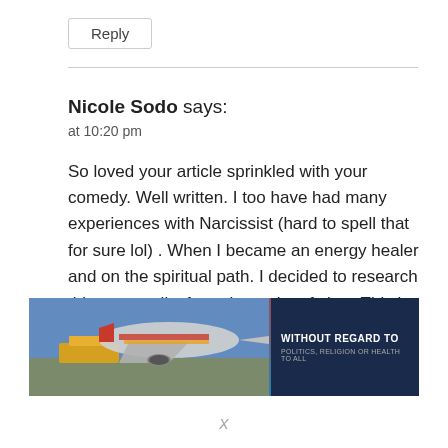Reply
Nicole Sodo says:
at 10:20 pm
So loved your article sprinkled with your comedy. Well written. I too have had many experiences with Narcissist (hard to spell that for sure lol) . When I became an energy healer and on the spiritual path. I decided to research this personality from that point of view. This is what I found. All Narcissists
[Figure (photo): Advertisement banner showing airplane being loaded with cargo, with text overlay 'WITHOUT REGARD TO POLITICS, RELIGION OR HEALTH TO ALL']